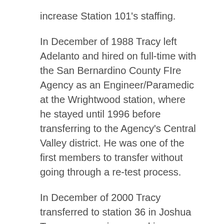increase Station 101's staffing.
In December of 1988 Tracy left Adelanto and hired on full-time with the San Bernardino County FIre Agency as an Engineer/Paramedic at the Wrightwood station, where he stayed until 1996 before transferring to the Agency's Central Valley district. He was one of the first members to transfer without going through a re-test process.
In December of 2000 Tracy transferred to station 36 in Joshua Tree as an engineer working as a company officer. Eventually he promoted to Captain and worked to build the department's SCBA confidence training maze. He remained at 36 before transferring to